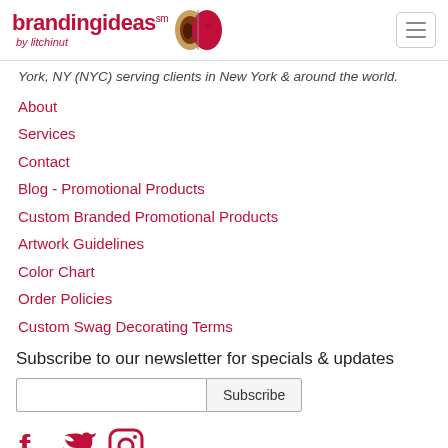brandingideas sm by litchinut
York, NY (NYC) serving clients in New York & around the world.
About
Services
Contact
Blog - Promotional Products
Custom Branded Promotional Products
Artwork Guidelines
Color Chart
Order Policies
Custom Swag Decorating Terms
Subscribe to our newsletter for specials & updates
[Figure (other): Email subscription input field and Subscribe button]
[Figure (other): Social media icons: Facebook, Twitter, Instagram]